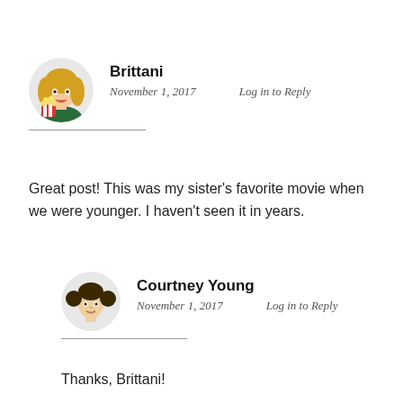Brittani
November 1, 2017   Log in to Reply
Great post! This was my sister's favorite movie when we were younger. I haven't seen it in years.
Courtney Young
November 1, 2017   Log in to Reply
Thanks, Brittani!